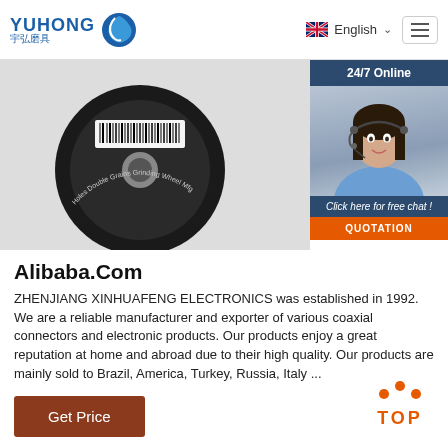YUHONG 宇弘磨具 | English | Menu
[Figure (photo): Close-up photo of a black grinding wheel with text 'Holes Double Grains Grinding Wheel Mfg' around the edge and a barcode label]
[Figure (infographic): 24/7 Online widget with photo of female customer service agent wearing headset, 'Click here for free chat!' text, and orange QUOTATION button]
Alibaba.Com
ZHENJIANG XINHUAFENG ELECTRONICS was established in 1992. We are a reliable manufacturer and exporter of various coaxial connectors and electronic products. Our products enjoy a great reputation at home and abroad due to their high quality. Our products are mainly sold to Brazil, America, Turkey, Russia, Italy ...
[Figure (other): Orange 'Get Price' button]
[Figure (other): Orange 'TOP' back-to-top button with three orange dots arranged in an arc above the text]